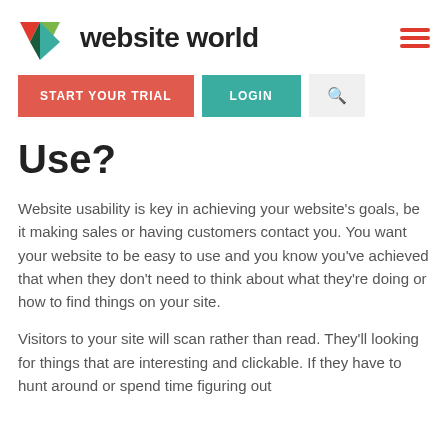website world
START YOUR TRIAL   LOGIN   🔍
Use?
Website usability is key in achieving your website's goals, be it making sales or having customers contact you. You want your website to be easy to use and you know you've achieved that when they don't need to think about what they're doing or how to find things on your site.
Visitors to your site will scan rather than read. They'll looking for things that are interesting and clickable. If they have to hunt around or spend time figuring out